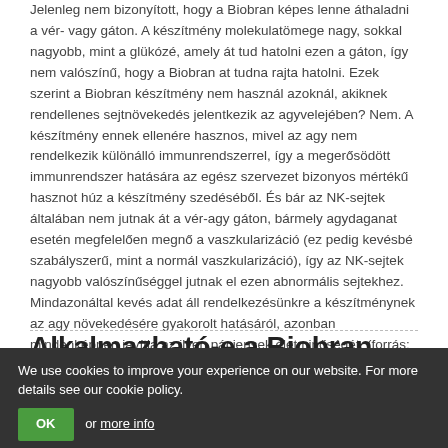Jelenleg nem bizonyított, hogy a Biobran képes lenne áthaladni a vér- vagy gáton. A készítmény molekulatömege nagy, sokkal nagyobb, mint a glükózé, amely át tud hatolni ezen a gáton, így nem valószínű, hogy a Biobran at tudna rajta hatolni. Ezek szerint a Biobran készítmény nem használ azoknál, akiknek rendellenes sejtnövekedés jelentkezik az agyvelejében? Nem. A készítmény ennek ellenére hasznos, mivel az agy nem rendelkezik különálló immunrendszerrel, így a megerősödött immunrendszer hatására az egész szervezet bizonyos mértékű hasznot húz a készítmény szedéséből. És bár az NK-sejtek általában nem jutnak át a vér-agy gáton, bármely agydaganat esetén megfelelően megnő a vaszkularizáció (ez pedig kevésbé szabályszerű, mint a normál vaszkularizáció), így az NK-sejtek nagyobb valószínűséggel jutnak el ezen abnormális sejtekhez. Mindazonáltal kevés adat áll rendelkezésünkre a készítménynek az agy növekedésére gyakorolt hatásáról, azonban mindenképpen javítja az ilyen páciensek életminőségét. (forrás: Dr. Endo, Japán).
Alkalmazható-e a Biobran készítményt össejt-átültetés esetén?
We use cookies to improve your experience on our website. For more details see our cookie policy.